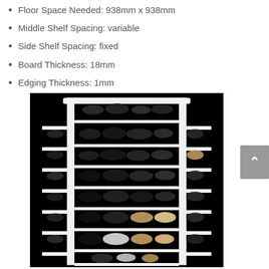Floor Space Needed: 938mm x 938mm
Middle Shelf Spacing: variable
Side Shelf Spacing: fixed
Board Thickness: 18mm
Edging Thickness: 1mm
[Figure (photo): A tall rotating shoe rack with multiple shelves filled with various shoes and heels, photographed against a black background. The white rack has side shelves and central shelves across approximately 7 rows.]